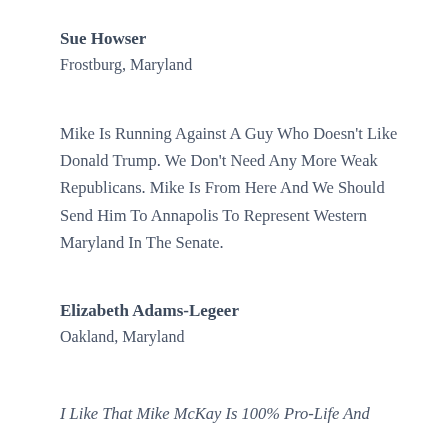Sue Howser
Frostburg, Maryland
Mike Is Running Against A Guy Who Doesn't Like Donald Trump. We Don't Need Any More Weak Republicans. Mike Is From Here And We Should Send Him To Annapolis To Represent Western Maryland In The Senate.
Elizabeth Adams-Legeer
Oakland, Maryland
I Like That Mike McKay Is 100% Pro-Life And